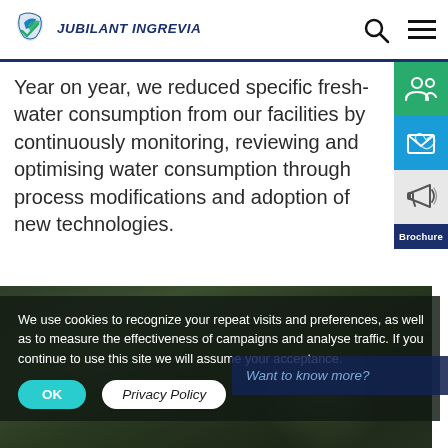[Figure (logo): Jubilant Ingrevia logo with blue/green leaf-style checkmark icon and italic text]
Year on year, we reduced specific fresh-water consumption from our facilities by continuously monitoring, reviewing and optimising water consumption through process modifications and adoption of new technologies.
[Figure (photo): Dark green macro photo of water droplets on leaves]
We use cookies to recognize your repeat visits and preferences, as well as to measure the effectiveness of campaigns and analyse traffic. If you continue to use this site we will assume your acceptance.
Want to know more?